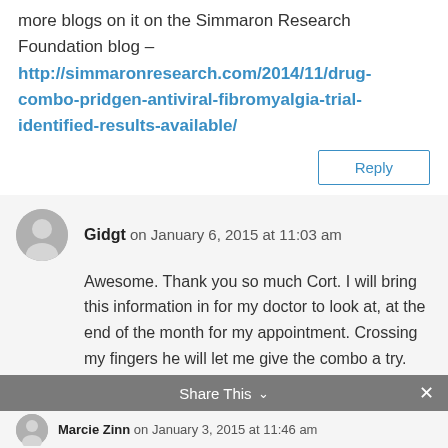more blogs on it on the Simmaron Research Foundation blog – http://simmaronresearch.com/2014/11/drug-combo-pridgen-antiviral-fibromyalgia-trial-identified-results-available/
Reply
Gidgt on January 6, 2015 at 11:03 am
Awesome. Thank you so much Cort. I will bring this information in for my doctor to look at, at the end of the month for my appointment. Crossing my fingers he will let me give the combo a try.
Share This
Marcie Zinn on January 3, 2015 at 11:46 am